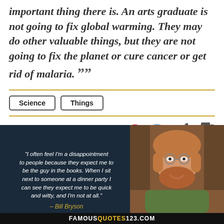important thing there is. An arts graduate is not going to fix global warming. They may do other valuable things, but they are not going to fix the planet or cure cancer or get rid of malaria. ””
Science
Things
Bill Bryson
[Figure (infographic): Promotional banner for famousquotes123.com featuring a quote by Bill Bryson: 'I often feel I'm a disappointment to people because they expect me to be the guy in the books. When I sit next to someone at a dinner party I can see they expect me to be quick and witty, and I'm not at all.' – Bill Bryson, with a photo of Bill Bryson on the right side, on a dark navy background.]
FAMOUSQUOTES123.COM